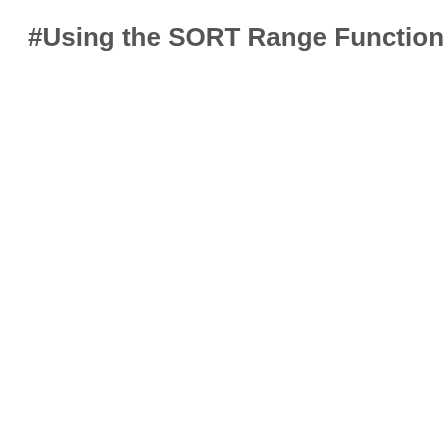#Using the SORT Range Function